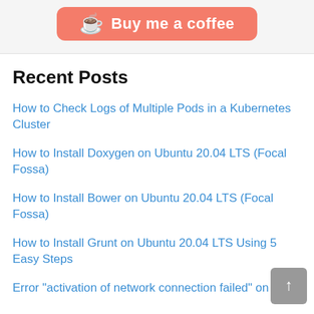[Figure (illustration): Buy me a coffee button with salmon/coral background, coffee cup icon, and white script text reading 'Buy me a coffee']
Recent Posts
How to Check Logs of Multiple Pods in a Kubernetes Cluster
How to Install Doxygen on Ubuntu 20.04 LTS (Focal Fossa)
How to Install Bower on Ubuntu 20.04 LTS (Focal Fossa)
How to Install Grunt on Ubuntu 20.04 LTS Using 5 Easy Steps
Error "activation of network connection failed" on Linux